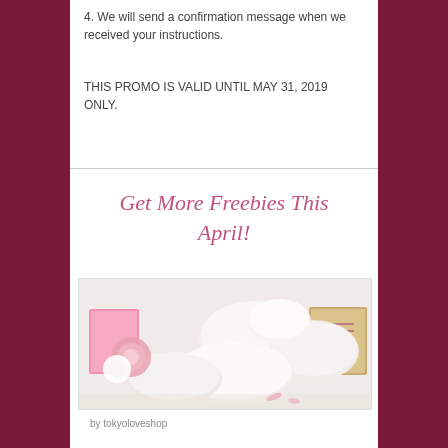4. We will send a confirmation message when we received your instructions.
THIS PROMO IS VALID UNTIL MAY 31, 2019 ONLY.
Get More Freebies This April!
[Figure (photo): Photo of multiple white oval soap bars arranged in a pile with pink roses and pink/gold product packaging boxes in the background on a white surface.]
by tokyoloveshop